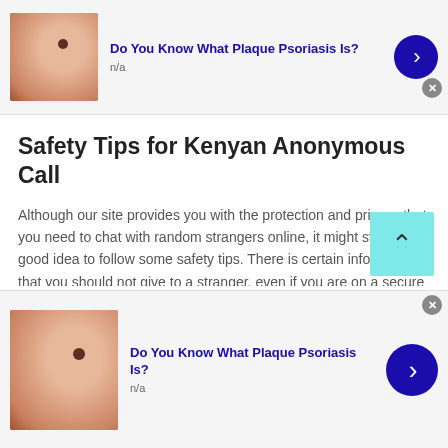[Figure (advertisement): Top ad banner: skin/hand thumbnail image, blue bold title 'Do You Know What Plaque Psoriasis Is?', subtitle 'n/a', blue circular arrow button, gray close button]
Safety Tips for Kenyan Anonymous Call
Although our site provides you with the protection and privacy that you need to chat with random strangers online, it might still be a good idea to follow some safety tips. There is certain information that you should not give to a stranger, even if you are on a secure platform like our website:
Your real name
[Figure (advertisement): Bottom ad banner: skin/hand thumbnail image, blue bold title 'Do You Know What Plaque Psoriasis Is?', subtitle 'n/a', blue circular arrow button, gray close button]